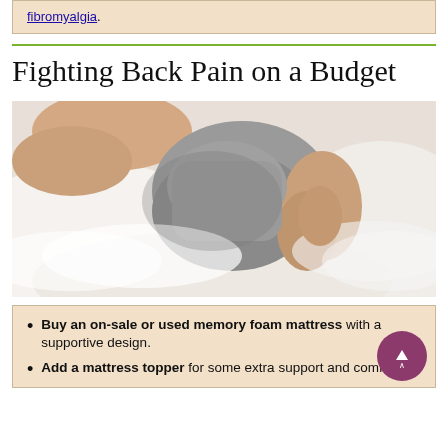fibromyalgia.
Fighting Back Pain on a Budget
[Figure (photo): Woman lying in bed holding her lower back in pain, surrounded by white pillows and sheets, wearing a grey top.]
Buy an on-sale or used memory foam mattress with a supportive design.
Add a mattress topper for some extra support and comfort.